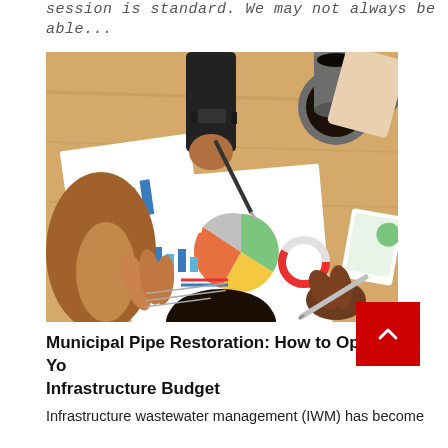session is standard. We may not always be able...
[Figure (photo): Overhead view of people at a meeting table reviewing business charts and reports, with coffee mug, tablet, pens, and printed analytical documents including pie charts and bar graphs visible.]
Municipal Pipe Restoration: How to Optimize Your Infrastructure Budget
Infrastructure wastewater management (IWM) has become